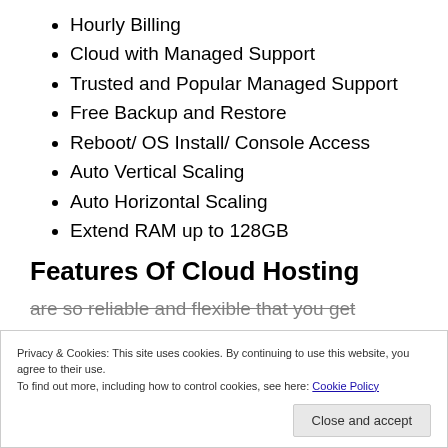Hourly Billing
Cloud with Managed Support
Trusted and Popular Managed Support
Free Backup and Restore
Reboot/ OS Install/ Console Access
Auto Vertical Scaling
Auto Horizontal Scaling
Extend RAM up to 128GB
Features Of Cloud Hosting
Privacy & Cookies: This site uses cookies. By continuing to use this website, you agree to their use.
To find out more, including how to control cookies, see here: Cookie Policy
are so reliable and flexible that you get